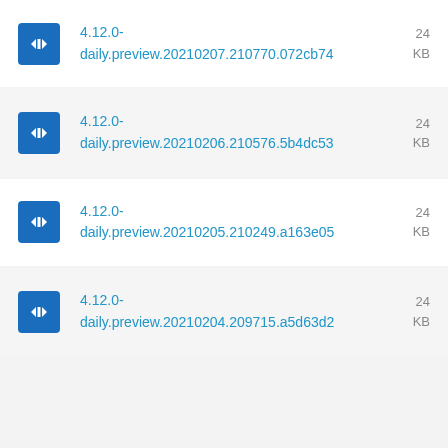4.12.0-daily.preview.20210207.210770.072cb74  24 KB
4.12.0-daily.preview.20210206.210576.5b4dc53  24 KB
4.12.0-daily.preview.20210205.210249.a163e05  24 KB
4.12.0-daily.preview.20210204.209715.a5d63d2  24 KB